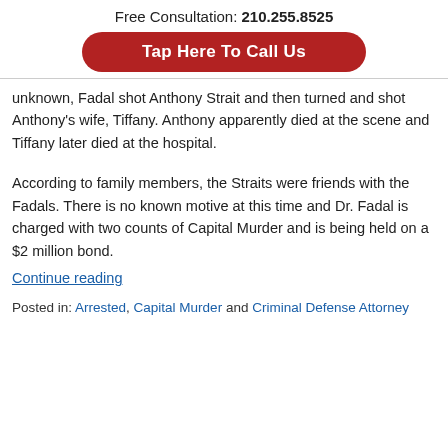Free Consultation: 210.255.8525
Tap Here To Call Us
unknown, Fadal shot Anthony Strait and then turned and shot Anthony's wife, Tiffany. Anthony apparently died at the scene and Tiffany later died at the hospital.
According to family members, the Straits were friends with the Fadals. There is no known motive at this time and Dr. Fadal is charged with two counts of Capital Murder and is being held on a $2 million bond.
Continue reading
Posted in: Arrested, Capital Murder and Criminal Defense Attorney